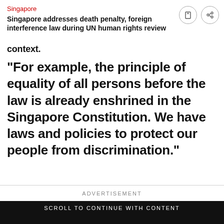Singapore
Singapore addresses death penalty, foreign interference law during UN human rights review
context.
"For example, the principle of equality of all persons before the law is already enshrined in the Singapore Constitution. We have laws and policies to protect our people from discrimination."
ADVERTISEMENT
SCROLL TO CONTINUE WITH CONTENT